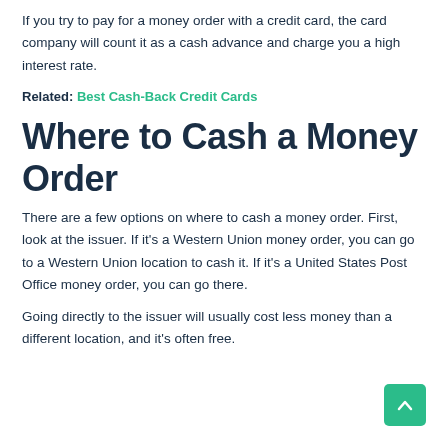If you try to pay for a money order with a credit card, the card company will count it as a cash advance and charge you a high interest rate.
Related: Best Cash-Back Credit Cards
Where to Cash a Money Order
There are a few options on where to cash a money order. First, look at the issuer. If it's a Western Union money order, you can go to a Western Union location to cash it. If it's a United States Post Office money order, you can go there.
Going directly to the issuer will usually cost less money than a different location, and it's often free.